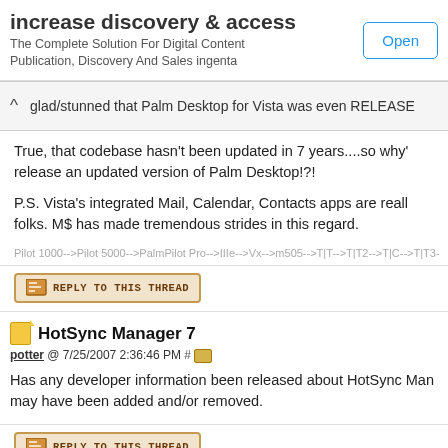[Figure (screenshot): Advertisement banner: 'increase discovery & access' with subtitle 'The Complete Solution For Digital Content Publication, Discovery And Sales ingenta' and an 'Open' button]
glad/stunned that Palm Desktop for Vista was even RELEASE
True, that codebase hasn't been updated in 7 years....so why' release an updated version of Palm Desktop!?!
P.S. Vista's integrated Mail, Calendar, Contacts apps are reall folks. M$ has made tremendous strides in this regard.
Pilot 1000-->Pilot 5000-->PalmPilot Pro-->IIIe-->Vx-->m505-->T|T-->T|T2-->T|C-->T|T3-
[Figure (screenshot): Reply to this thread button]
HotSync Manager 7
potter @ 7/25/2007 2:36:46 PM # (icon)
Has any developer information been released about HotSync Man may have been added and/or removed.
[Figure (screenshot): Reply to this thread button]
I miss Palm Desktop
Gekko @ 7/25/2007 7:36:36 PM # (icon)